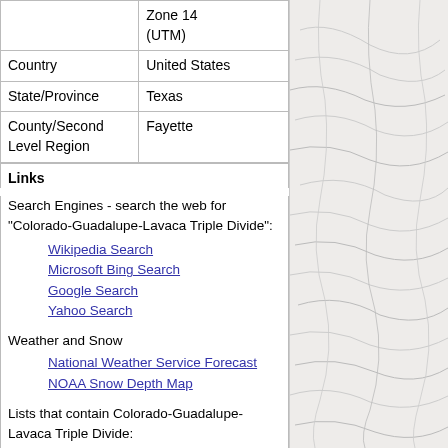|  | Zone 14 (UTM) |
| Country | United States |
| State/Province | Texas |
| County/Second Level Region | Fayette |
Links
Search Engines - search the web for "Colorado-Guadalupe-Lavaca Triple Divide":
Wikipedia Search
Microsoft Bing Search
Google Search
Yahoo Search
Weather and Snow
National Weather Service Forecast
NOAA Snow Depth Map
Lists that contain Colorado-Guadalupe-Lavaca Triple Divide:
USA Lower 48 Triple Divide Points (Rank #54)
Ascent Info